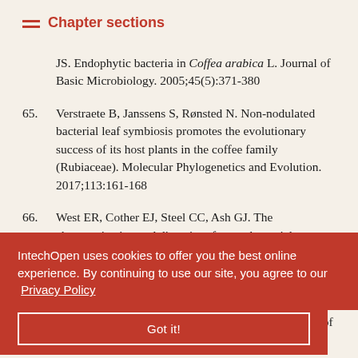Chapter sections
JS. Endophytic bacteria in Coffea arabica L. Journal of Basic Microbiology. 2005;45(5):371-380
65. Verstraete B, Janssens S, Rønsted N. Non-nodulated bacterial leaf symbiosis promotes the evolutionary success of its host plants in the coffee family (Rubiaceae). Molecular Phylogenetics and Evolution. 2017;113:161-168
66. West ER, Cother EJ, Steel CC, Ash GJ. The characterization and diversity of bacterial ... an Journal of ...
... ult F, Mouly ... lineages of ... erent ... lution histories, and the deep ...
IntechOpen uses cookies to offer you the best online experience. By continuing to use our site, you agree to our Privacy Policy
Got it!